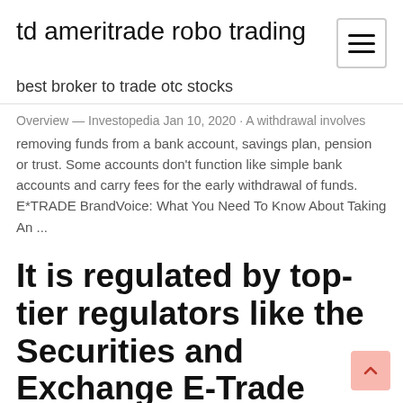td ameritrade robo trading
best broker to trade otc stocks
Overview — Investopedia Jan 10, 2020 · A withdrawal involves removing funds from a bank account, savings plan, pension or trust. Some accounts don't function like simple bank accounts and carry fees for the early withdrawal of funds. E*TRADE BrandVoice: What You Need To Know About Taking An ...
It is regulated by top-tier regulators like the Securities and Exchange E-Trade offers low trading fees including free stock and ETF trading. Assets, Fee level, Fee terms The